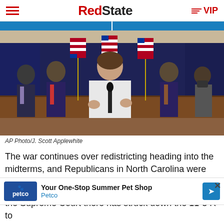RedState VIP
[Figure (photo): A woman in a white blazer speaking at a podium with a microphone, surrounded by several men in suits, with American flags in the background in a formal government setting. AP Photo/J. Scott Applewhite]
AP Photo/J. Scott Applewhite
The war continues over redistricting heading into the midterms, and Republicans in North Carolina were just
the Supreme Court there has struck down the 11-3 R to